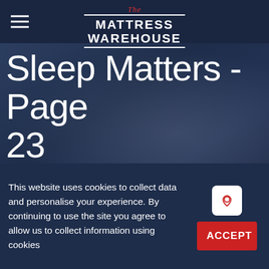The Mattress Warehouse
Sleep Matters - Page 23
Home > Sleep Matters > Page 23
This website uses cookies to collect data and personalise your experience. By continuing to use the site you agree to allow us to collect information using cookies